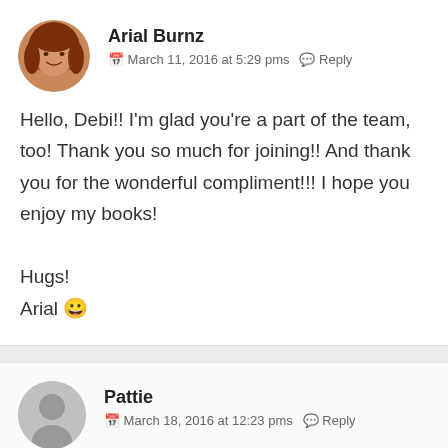[Figure (photo): Profile photo of Arial Burnz, a woman with long reddish-brown hair]
Arial Burnz
March 11, 2016 at 5:29 pms   Reply
Hello, Debi!! I'm glad you're a part of the team, too! Thank you so much for joining!! And thank you for the wonderful compliment!!! I hope you enjoy my books!

Hugs!
Arial 😀
[Figure (photo): Default grey avatar icon for user Pattie]
Pattie
March 18, 2016 at 12:23 pms   Reply
Just recently found out about you and your books!